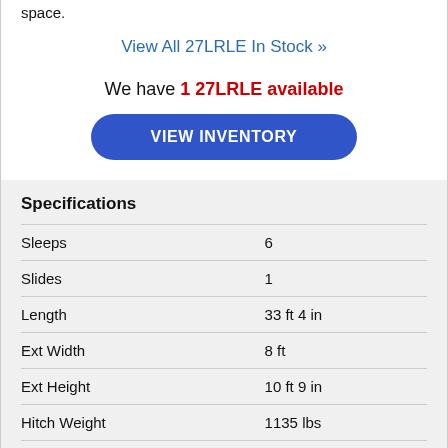space.
View All 27LRLE In Stock »
We have 1 27LRLE available
VIEW INVENTORY
Specifications
|  |  |
| --- | --- |
| Sleeps | 6 |
| Slides | 1 |
| Length | 33 ft 4 in |
| Ext Width | 8 ft |
| Ext Height | 10 ft 9 in |
| Hitch Weight | 1135 lbs |
| Dry Weight | 6363 lbs |